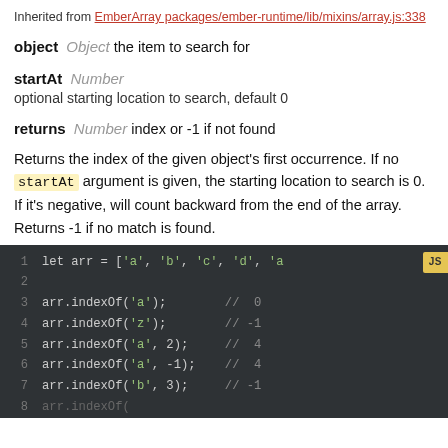Inherited from EmberArray packages/ember-runtime/lib/mixins/array.js:338
object Object  the item to search for
startAt Number
optional starting location to search, default 0
returns Number  index or -1 if not found
Returns the index of the given object's first occurrence. If no startAt argument is given, the starting location to search is 0. If it's negative, will count backward from the end of the array. Returns -1 if no match is found.
[Figure (screenshot): Code block showing JavaScript example of arr.indexOf usage with line numbers 1-7, on dark background with JS badge]